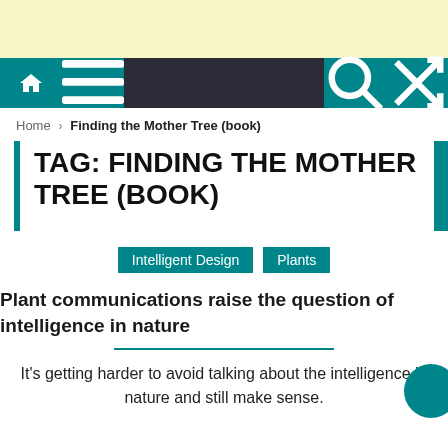[Figure (screenshot): Yellow advertisement banner at top of webpage]
Navigation bar with home, menu, search, and shuffle icons
Home › Finding the Mother Tree (book)
TAG: FINDING THE MOTHER TREE (BOOK)
Intelligent Design  Plants
Plant communications raise the question of intelligence in nature
It's getting harder to avoid talking about the intelligence in nature and still make sense.